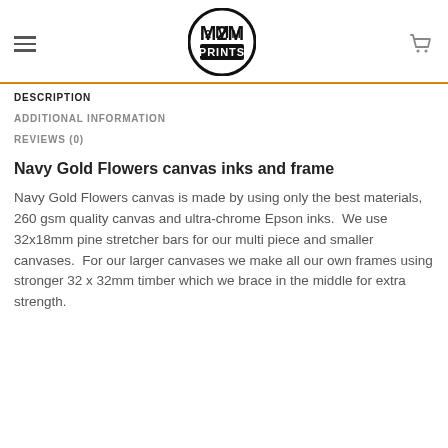M2M PRINTS
DESCRIPTION
ADDITIONAL INFORMATION
REVIEWS (0)
Navy Gold Flowers canvas inks and frame
Navy Gold Flowers canvas is made by using only the best materials, 260 gsm quality canvas and ultra-chrome Epson inks.  We use 32x18mm pine stretcher bars for our multi piece and smaller canvases.  For our larger canvases we make all our own frames using stronger 32 x 32mm timber which we brace in the middle for extra strength.